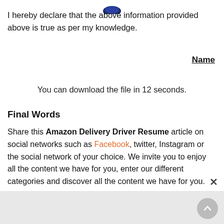[Figure (logo): Partial logo (dark blue shape) visible at top center]
I hereby declare that the above information provided above is true as per my knowledge.
Name
You can download the file in 12 seconds.
Final Words
Share this Amazon Delivery Driver Resume article on social networks such as Facebook, twitter, Instagram or the social network of your choice. We invite you to enjoy all the content we have for you, enter our different categories and discover all the content we have for you.
[Figure (other): Gray advertisement/content bar at the bottom of the page with a circular scroll-to-top button on the right]